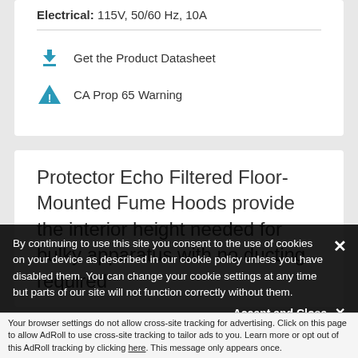Electrical: 115V, 50/60 Hz, 10A
Get the Product Datasheet
CA Prop 65 Warning
Protector Echo Filtered Floor-Mounted Fume Hoods provide the interior height needed for bulky apparatus with no ducting required
By continuing to use this site you consent to the use of cookies on your device as described in our cookie policy unless you have disabled them. You can change your cookie settings at any time but parts of our site will not function correctly without them.
Your browser settings do not allow cross-site tracking for advertising. Click on this page to allow AdRoll to use cross-site tracking to tailor ads to you. Learn more or opt out of this AdRoll tracking by clicking here. This message only appears once.